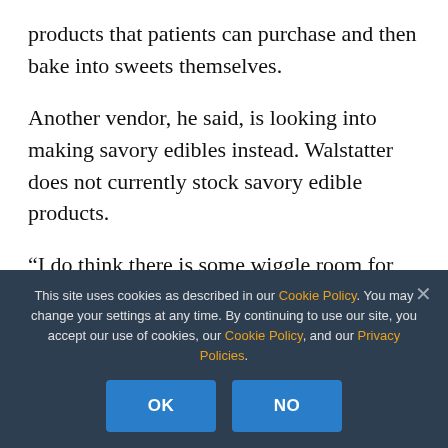products that patients can purchase and then bake into sweets themselves.

Another vendor, he said, is looking into making savory edibles instead. Walstatter does not currently stock savory edible products.

“I do think there is some wiggle room for these companies,” Walstatter said.
This site uses cookies as described in our Cookie Policy. You may change your settings at any time. By continuing to use our site, you accept our use of cookies, our Cookie Policy, and our Privacy Policies.